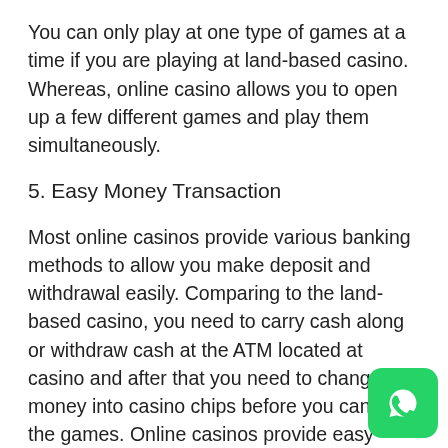You can only play at one type of games at a time if you are playing at land-based casino. Whereas, online casino allows you to open up a few different games and play them simultaneously.
5. Easy Money Transaction
Most online casinos provide various banking methods to allow you make deposit and withdrawal easily. Comparing to the land-based casino, you need to carry cash along or withdraw cash at the ATM located at casino and after that you need to change the money into casino chips before you can play the games. Online casinos provide easy money transaction that automatically deposit money into your player's account
[Figure (logo): WhatsApp icon button in green rounded rectangle at bottom right corner]